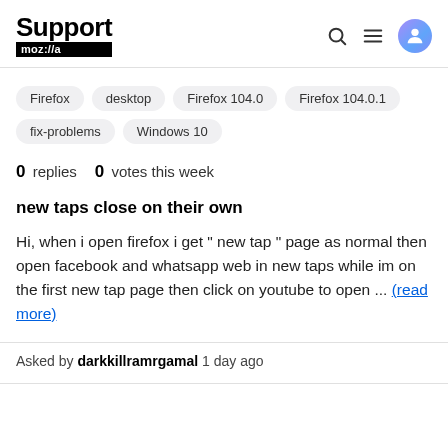Support moz://a
Firefox
desktop
Firefox 104.0
Firefox 104.0.1
fix-problems
Windows 10
0 replies   0 votes this week
new taps close on their own
Hi, when i open firefox i get " new tap " page as normal then open facebook and whatsapp web in new taps while im on the first new tap page then click on youtube to open ... (read more)
Asked by darkkillramrgamal 1 day ago